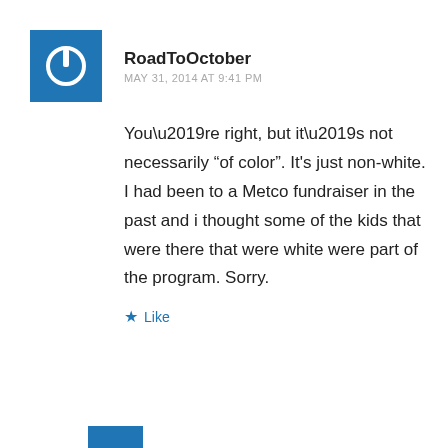[Figure (logo): Blue square avatar with white power button icon]
RoadToOctober
MAY 31, 2014 AT 9:41 PM
You’re right, but it’s not necessarily “of color”. It's just non-white. I had been to a Metco fundraiser in the past and i thought some of the kids that were there that were white were part of the program. Sorry.
Like